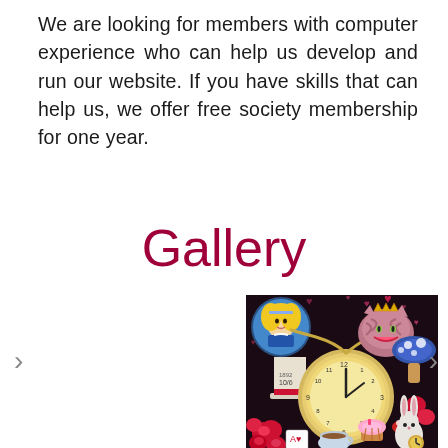We are looking for members with computer experience who can help us develop and run our website. If you have skills that can help us, we offer free society membership for one year.
Gallery
[Figure (illustration): An Alice in Wonderland themed coloring book illustration on a dark background, featuring Alice, the Cheshire Cat, the Mad Hatter's hat, a large pocket watch, mushrooms, roses, playing cards with hearts, teacups, a cupcake, and the White Rabbit.]